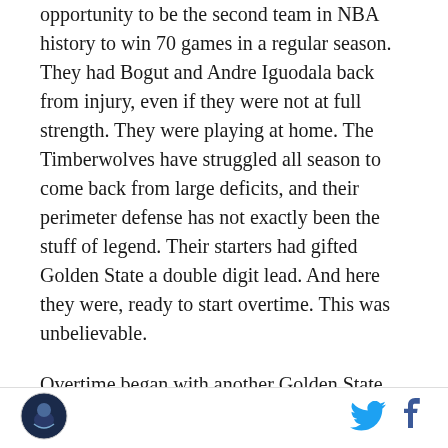Warriors entered this game 69-9, and had the opportunity to be the second team in NBA history to win 70 games in a regular season. They had Bogut and Andre Iguodala back from injury, even if they were not at full strength. They were playing at home. The Timberwolves have struggled all season to come back from large deficits, and their perimeter defense has not exactly been the stuff of legend. Their starters had gifted Golden State a double digit lead. And here they were, ready to start overtime. This was unbelievable.
Overtime began with another Golden State turnover. Then another powerful move from Wiggins, and the Wolves led for the first time in 40 minutes. A jumper from Wiggins, and the lead was four. Unstoppable
[Figure (logo): Circular sports team logo in bottom-left footer area]
[Figure (logo): Twitter bird icon in footer]
[Figure (logo): Facebook 'f' icon in footer]